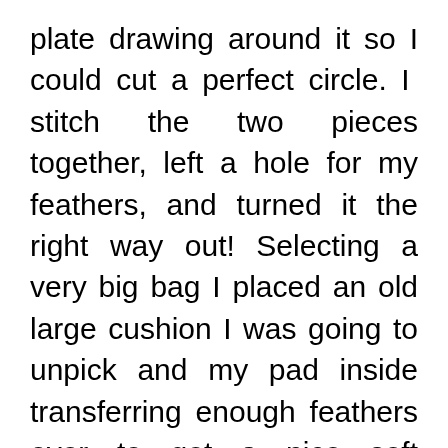plate drawing around it so I could cut a perfect circle. I stitch the two pieces together, left a hole for my feathers, and turned it the right way out! Selecting a very big bag I placed an old large cushion I was going to unpick and my pad inside transferring enough feathers over to get a nice soft cushion. Then I stitched the hole closed. It was just the right size. I then made a circle with the same dinner plate on some cream silk and cut it out. This was then centred over the design and I sewed about two third of the seam, so I could ease the cushion pad